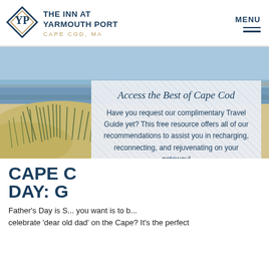[Figure (logo): The Inn at Yarmouth Port, Cape Cod MA logo with diamond YP monogram]
THE INN AT YARMOUTH PORT CAPE COD, MA | MENU
[Figure (photo): Beach scene with sand dunes, sea grass, and ocean in background]
Access the Best of Cape Cod
Have you request our complimentary Travel Guide yet? This free resource offers all of our recommendations to assist you in recharging, reconnecting, and rejuvenating on your getaway!
Request the Guide Today
CAPE C... DAY: G...
Father's Day is S... you want is to b... celebrate 'dear old dad' on the Cape? It's the perfect